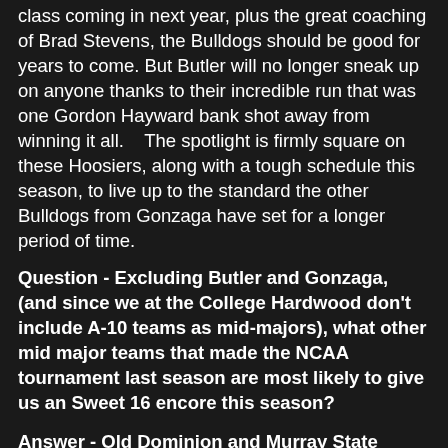class coming in next year, plus the great coaching of Brad Stevens, the Bulldogs should be good for years to come. But Butler will no longer sneak up on anyone thanks to their incredible run that was one Gordon Hayward bank shot away from winning it all.   The spotlight is firmly square on these Hoosiers, along with a tough schedule this season, to live up to the standard the other Bulldogs from Gonzaga have set for a longer period of time.
Question - Excluding Butler and Gonzaga, (and since we at the College Hardwood don't include A-10 teams as mid-majors), what other mid major teams that made the NCAA tournament last season are most likely to give us an Sweet 16 encore this season?
Answer - Old Dominion and Murray State
The Monarchs won at Georgetown, then won the very competitive CAA regular season and the CAA Tournament, coming from behind to knock off VCU in overtime in the semifinals, then ending the NCAA postseason hopes of